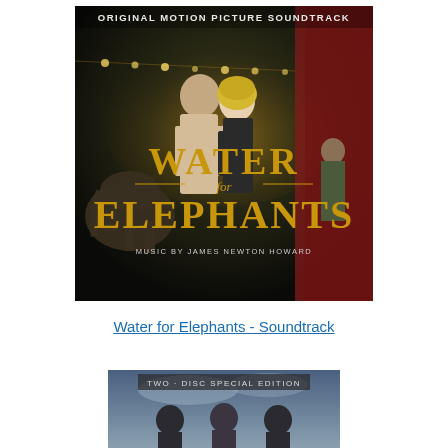[Figure (illustration): Album cover for 'Water for Elephants - Original Motion Picture Soundtrack'. Shows two people in romantic pose, an elephant on the left, a man in a suit on the right. Gold text reads 'WATER for ELEPHANTS' with 'ORIGINAL MOTION PICTURE SOUNDTRACK' at top and 'MUSIC BY JAMES NEWTON HOWARD' at bottom.]
Water for Elephants - Soundtrack
[Figure (illustration): Partially visible image labeled 'TWO-DISC SPECIAL EDITION' showing three figures, likely from another film/soundtrack, cropped at bottom of the page.]